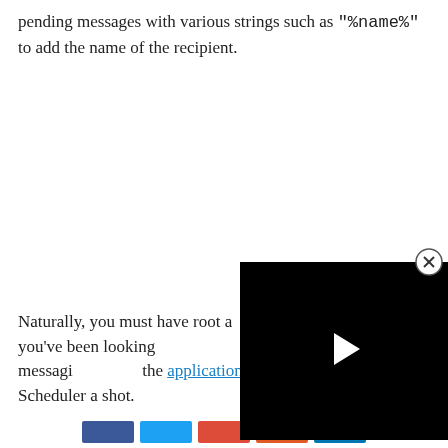pending messages with various strings such as "%name%" to add the name of the recipient.
[Figure (screenshot): A black video player overlay with a white triangle play button in the center, and a circular close (X) button in the upper right corner.]
Naturally, you must have root access for this to work. If you've been looking for a way to automate your mobile messaging, check the application thread and give Seebye Scheduler a shot.